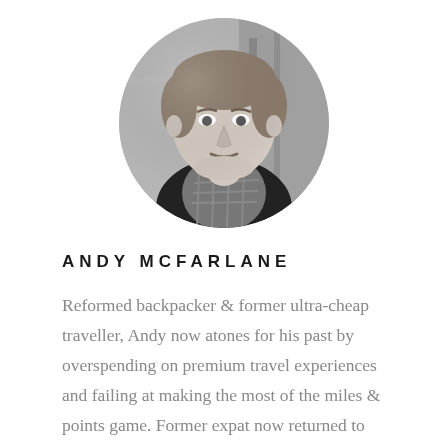[Figure (photo): Circular black and white headshot photo of Andy McFarlane, a young man smiling, wearing a checked shirt and dark blazer, with a blurred indoor background.]
ANDY MCFARLANE
Reformed backpacker & former ultra-cheap traveller, Andy now atones for his past by overspending on premium travel experiences and failing at making the most of the miles & points game. Former expat now returned to Ireland, he is a product manager by day, and travel
[Figure (illustration): Handwritten cursive signature or logo reading 'Top' in black ink, positioned in the bottom right area.]